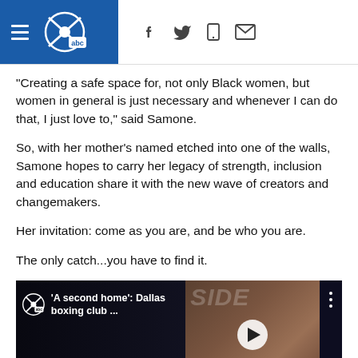WFAA ABC 8 — navigation header with hamburger menu and social/share icons
"Creating a safe space for, not only Black women, but women in general is just necessary and whenever I can do that, I just love to," said Samone.
So, with her mother's named etched into one of the walls, Samone hopes to carry her legacy of strength, inclusion and education share it with the new wave of creators and changemakers.
Her invitation: come as you are, and be who you are.
The only catch...you have to find it.
[Figure (screenshot): Embedded video thumbnail: 'A second home': Dallas boxing club ... with WFAA logo badge, dark background on left, boxing scene image in center with play button, three-dot menu on right]